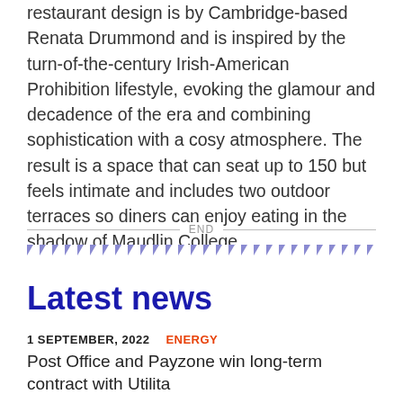restaurant design is by Cambridge-based Renata Drummond and is inspired by the turn-of-the-century Irish-American Prohibition lifestyle, evoking the glamour and decadence of the era and combining sophistication with a cosy atmosphere. The result is a space that can seat up to 150 but feels intimate and includes two outdoor terraces so diners can enjoy eating in the shadow of Maudlin College.
Latest news
1 SEPTEMBER, 2022   ENERGY
Post Office and Payzone win long-term contract with Utilita